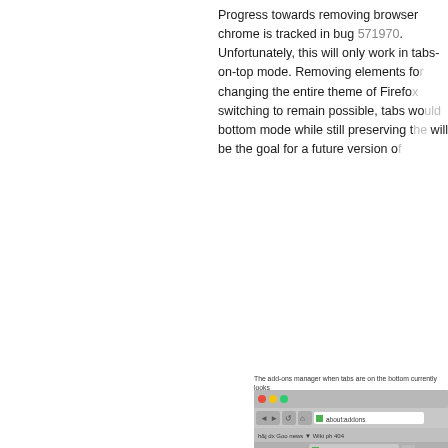Progress towards removing browser chrome is tracked in bug 571970. Unfortunately, this will only work in tabs-on-top mode. Removing elements for tabs-on-bottom mode, or changing the entire theme of Firefox to make tab switching to remain possible, tabs would need to work in bottom mode while still preserving the blended look, will be the goal for a future version of Firefox.
The add-ons manager when tabs are on the bottom currently looks like this:
The design gives none of the benefits of the simpler UI available wh...
[Figure (screenshot): Firefox browser screenshot showing the Add-ons Manager with tabs on the bottom. Shows macOS-style traffic light buttons, navigation bar with about:addons, bookmarks bar with h&j, dx, Goo, news, Wiki, ph, 404 tabs, and a tab bar with Add-ons Manager tab and + button. Lower area shows Get Add-ons with Caffeinata logo.]
In the future, we'd like to provide a similar blended interface in-cont...
[Figure (screenshot): Firefox browser screenshot showing a future design with Add-ons Manager in-content. Shows macOS-style traffic light buttons, navigation bar, and tab bar with Restore Session, Add-ons Manager, and Thanks for... tabs. Lower area shows Get Add-ons with Caffeinata logo.]